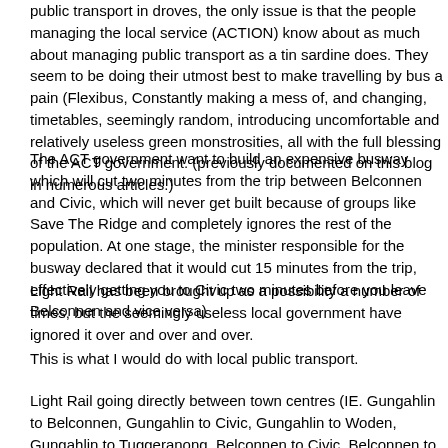public transport in droves, the only issue is that the people managing the local service (ACTION) know about as much about managing public transport as a tin sardine does. They seem to be doing their utmost best to make travelling by bus a pain (Flexibus, Constantly making a mess of, and changing, timetables, seemingly random, introducing uncomfortable and relatively useless green monstrosities, all with the full blessing of the ACT government. (previously documented on this blog in numerous articles.)
The ACT government want to build an expensive busway which will cut two minutes from the trip between Belconnen and Civic, which will never get built because of groups like Save The Ridge and completely ignores the rest of the population. At one stage, the minister responsible for the busway declared that it would cut 15 minutes from the trip, effectively getting you to Civic two minutes before you leave Belconnen and vice versa)
Light Rail has been brought up as a possibility a number of times, but the seemingly useless local government have ignored it over and over and over.
This is what I would do with local public transport.
Light Rail going directly between town centres (IE. Gungahlin to Belconnen, Gungahlin to Civic, Gungahlin to Woden, Gungahlin to Tuggeranong, Belconnen to Civic, Belconnen to Woden, Belconnen to Tuggeranong, Civic to Woden, Civic to Tuggeranong, Woden to Tuggeranong and vice versa on each). This would be